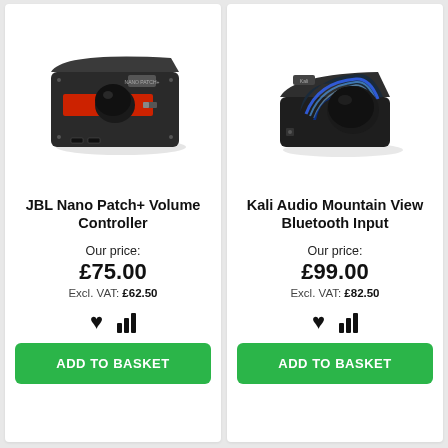[Figure (photo): JBL Nano Patch+ volume controller device — black rectangular unit with red accent and large black knob]
JBL Nano Patch+ Volume Controller
Our price:
£75.00
Excl. VAT: £62.50
ADD TO BASKET
[Figure (photo): Kali Audio Mountain View Bluetooth Input device — black square unit with glowing blue arc and large black knob]
Kali Audio Mountain View Bluetooth Input
Our price:
£99.00
Excl. VAT: £82.50
ADD TO BASKET